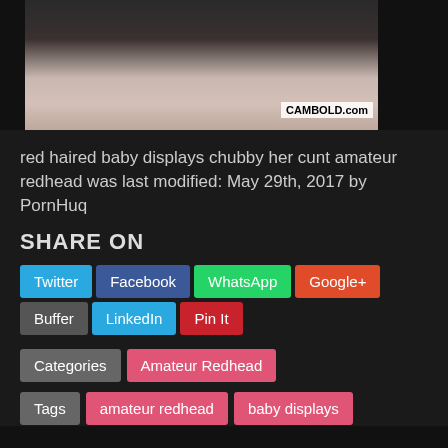[Figure (photo): Thumbnail image with CAMBOLD.com watermark]
red haired baby displays chubby her cunt amateur redhead was last modified: May 29th, 2017 by PornHuq
SHARE ON
Twitter Facebook WhatsApp Google+ Buffer LinkedIn Pin It
Categories  Amateur Redhead
Tags  amateur redhead  baby displays  chubby cunt  red haired
Posted on May 29, 2017 by mda_pornh
Related Videos